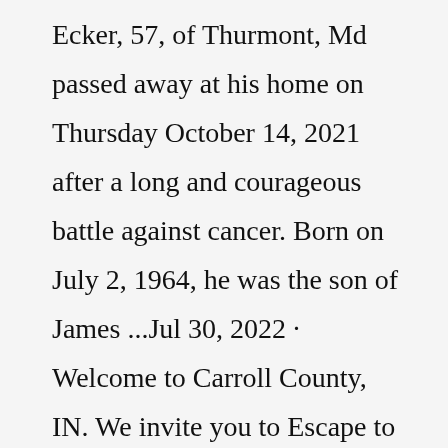Ecker, 57, of Thurmont, Md passed away at his home on Thursday October 14, 2021 after a long and courageous battle against cancer. Born on July 2, 1964, he was the son of James ...Jul 30, 2022 · Welcome to Carroll County, IN. We invite you to Escape to the Past, explore our rich heritage and see rural beauty in Carroll County. Follow one or all of the scenic tours available in our county or take the Interurban Trolley for that added element of history on your